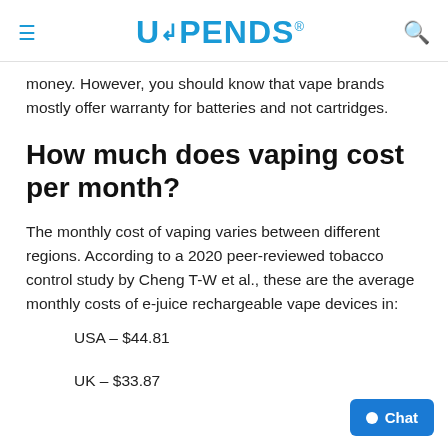UPENDS®
money. However, you should know that vape brands mostly offer warranty for batteries and not cartridges.
How much does vaping cost per month?
The monthly cost of vaping varies between different regions. According to a 2020 peer-reviewed tobacco control study by Cheng T-W et al., these are the average monthly costs of e-juice rechargeable vape devices in:
USA – $44.81
UK – $33.87